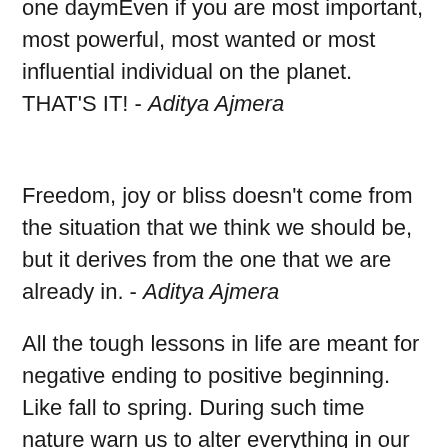one daymEven if you are most important, most powerful, most wanted or most influential individual on the planet. THAT'S IT! - Aditya Ajmera
Freedom, joy or bliss doesn't come from the situation that we think we should be, but it derives from the one that we are already in. - Aditya Ajmera
All the tough lessons in life are meant for negative ending to positive beginning. Like fall to spring. During such time nature warn us to alter everything in our life including mind. Such transformation are vital and essential. If we don't alter nature create force of destruction. - Aditya Ajmera